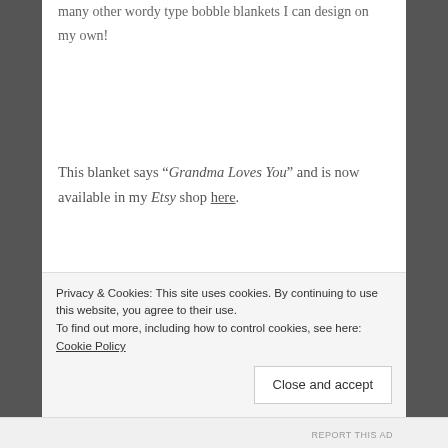many other wordy type bobble blankets I can design on my own!
This blanket says “Grandma Loves You” and is now available in my Etsy shop here.
Works In Progress
“ WIP “
Privacy & Cookies: This site uses cookies. By continuing to use this website, you agree to their use.
To find out more, including how to control cookies, see here: Cookie Policy
Close and accept